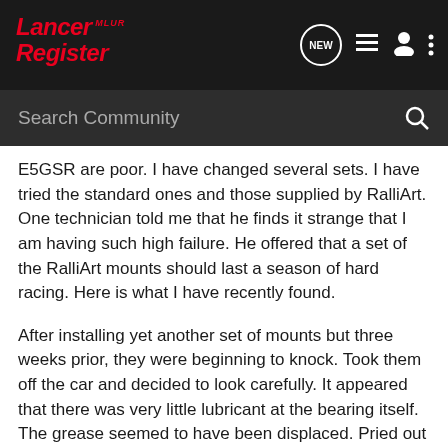[Figure (logo): Lancer Register MLR logo in red italic text on dark background navigation bar with NEW bubble icon, list icon, user icon, and dots icon]
Search Community
E5GSR are poor. I have changed several sets. I have tried the standard ones and those supplied by RalliArt. One technician told me that he finds it strange that I am having such high failure. He offered that a set of the RalliArt mounts should last a season of hard racing. Here is what I have recently found.
After installing yet another set of mounts but three weeks prior, they were beginning to knock. Took them off the car and decided to look carefully. It appeared that there was very little lubricant at the bearing itself. The grease seemed to have been displaced. Pried out the plastic cage and packed the balls to one side of the race. Snapped the race out and removed the balls (seven). Washed the bits and examined them. No pitting, no obvious wear. Re packed it all with some high quality wheel bearing grease and put it back together. The bearing felt much